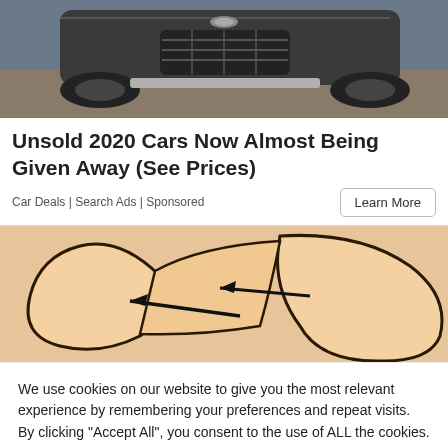[Figure (photo): Close-up photo of front of a dark luxury car, showing grille and hood from low angle]
Unsold 2020 Cars Now Almost Being Given Away (See Prices)
Car Deals | Search Ads | Sponsored
[Figure (illustration): Cartoon/illustration showing a person's arm or elbow area with two arrows pointing left, suggesting movement or adjustment]
We use cookies on our website to give you the most relevant experience by remembering your preferences and repeat visits. By clicking "Accept All", you consent to the use of ALL the cookies. However, you may visit "Cookie Settings" to provide a controlled consent.